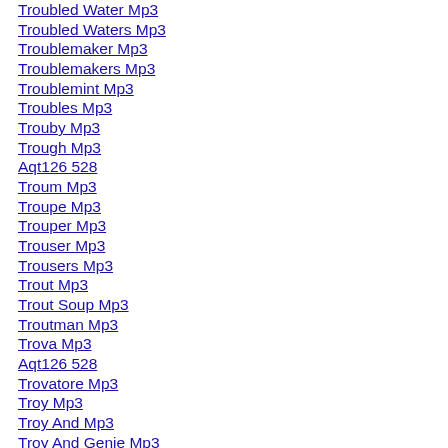Troubled Water Mp3
Troubled Waters Mp3
Troublemaker Mp3
Troublemakers Mp3
Troublemint Mp3
Troubles Mp3
Trouby Mp3
Trough Mp3
Aqt126 528
Troum Mp3
Troupe Mp3
Trouper Mp3
Trouser Mp3
Trousers Mp3
Trout Mp3
Trout Soup Mp3
Troutman Mp3
Trova Mp3
Aqt126 528
Trovatore Mp3
Troy Mp3
Troy And Mp3
Troy And Genie Mp3
Troy And Genie Nilsson Mp3
Troy And Genie S Mp3